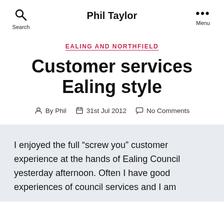Phil Taylor
EALING AND NORTHFIELD
Customer services Ealing style
By Phil  31st Jul 2012  No Comments
I enjoyed the full “screw you” customer experience at the hands of Ealing Council yesterday afternoon. Often I have good experiences of council services and I am